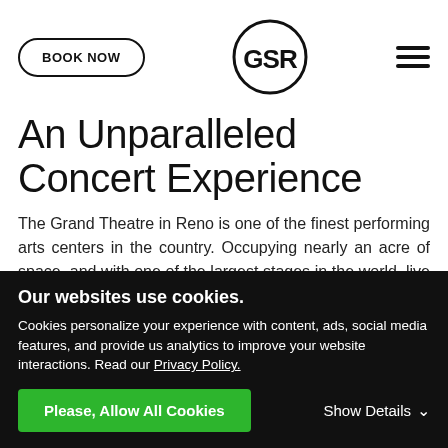BOOK NOW | GSR | Menu
An Unparalleled Concert Experience
The Grand Theatre in Reno is one of the finest performing arts centers in the country. Occupying nearly an acre of space, and with one of the largest stages in the world, live shows don't get any grander.
Our websites use cookies.
Cookies personalize your experience with content, ads, social media features, and provide us analytics to improve your website interactions. Read our Privacy Policy.
Please, Allow All Cookies | Show Details